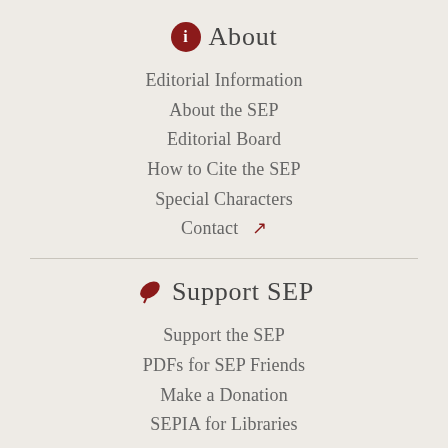About
Editorial Information
About the SEP
Editorial Board
How to Cite the SEP
Special Characters
Contact
Support SEP
Support the SEP
PDFs for SEP Friends
Make a Donation
SEPIA for Libraries
Mirror Sites
View this site from another server: